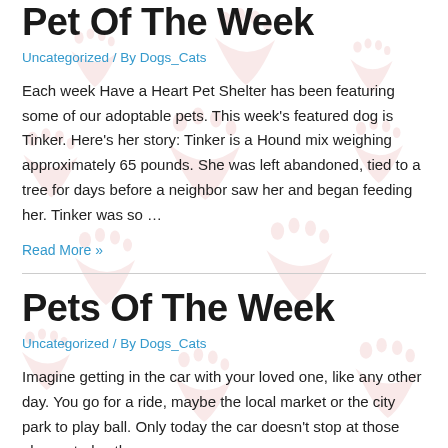Pet Of The Week
Uncategorized / By Dogs_Cats
Each week Have a Heart Pet Shelter has been featuring some of our adoptable pets. This week's featured dog is Tinker. Here's her story: Tinker is a Hound mix weighing approximately 65 pounds. She was left abandoned, tied to a tree for days before a neighbor saw her and began feeding her. Tinker was so …
Read More »
Pets Of The Week
Uncategorized / By Dogs_Cats
Imagine getting in the car with your loved one, like any other day. You go for a ride, maybe the local market or the city park to play ball. Only today the car doesn't stop at those places, today the car